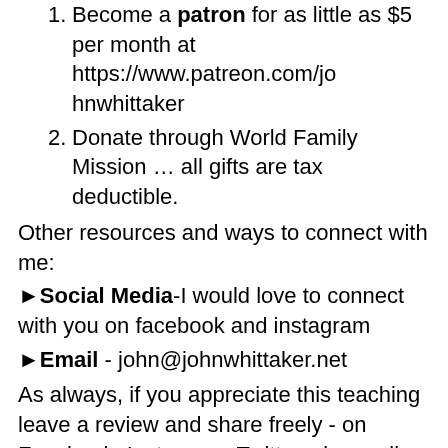Become a patron for as little as $5 per month at https://www.patreon.com/johnwhittaker
Donate through World Family Mission … all gifts are tax deductible.
Other resources and ways to connect with me:
►Social Media-I would love to connect with you on facebook and instagram
►Email - john@johnwhittaker.net
As always, if you appreciate this teaching leave a review and share freely - on Facebook, Instagram, Twitter, via email.